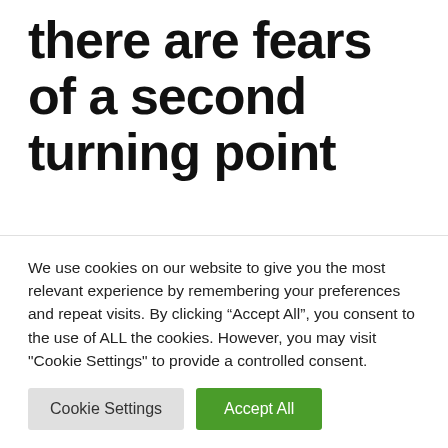there are fears of a second turning point
May 23, 2022 by admin
We use cookies on our website to give you the most relevant experience by remembering your preferences and repeat visits. By clicking “Accept All”, you consent to the use of ALL the cookies. However, you may visit "Cookie Settings" to provide a controlled consent.